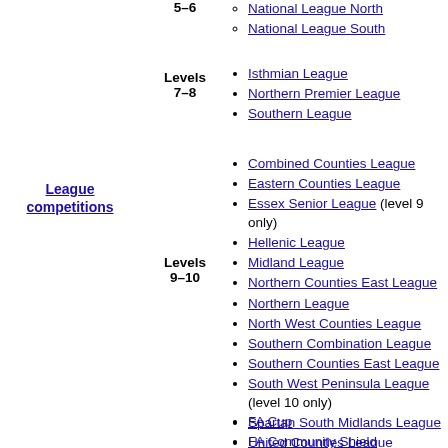5–6
National League North
National League South
Levels 7–8
Isthmian League
Northern Premier League
Southern League
League competitions
Levels 9–10
Combined Counties League
Eastern Counties League
Essex Senior League (level 9 only)
Hellenic League
Midland League
Northern Counties East League
Northern League
North West Counties League
Southern Combination League
Southern Counties East League
South West Peninsula League (level 10 only)
Spartan South Midlands League
United Counties League
Wessex League
Western League
FA Cup
FA Community Shield